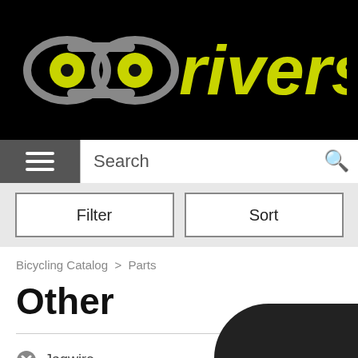[Figure (logo): Riverside bicycle brand logo: chain link icon in gray and lime green with 'riverside' text in lime green on black background]
Search
Filter   Sort
Bicycling Catalog > Parts
Other
✕ Jagwire